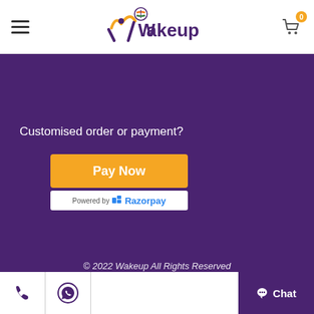[Figure (logo): Wakeup brand logo with colorful W graphic and Indian flag motif]
Customised order or payment?
[Figure (other): Pay Now button (orange/yellow) with Powered by Razorpay badge below]
© 2022 Wakeup All Rights Reserved
[Figure (other): Social media icons: Facebook, Instagram, Twitter, YouTube]
Phone icon | WhatsApp icon | Chat button